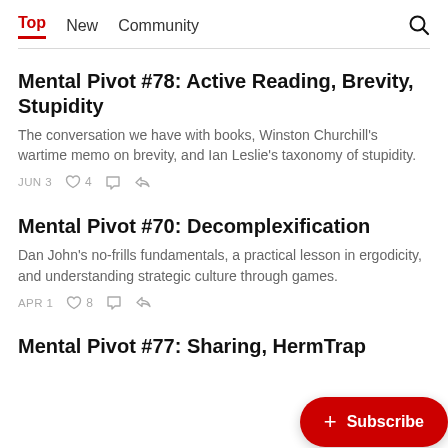Top  New  Community
Mental Pivot #78: Active Reading, Brevity, Stupidity
The conversation we have with books, Winston Churchill's wartime memo on brevity, and Ian Leslie's taxonomy of stupidity.
JUN 3  ♡ 4  💬  ↗
Mental Pivot #70: Decomplexification
Dan John's no-frills fundamentals, a practical lesson in ergodicity, and understanding strategic culture through games.
APR 1  ♡ 8  💬  ↗
Mental Pivot #77: Sharing, Herm... Trap